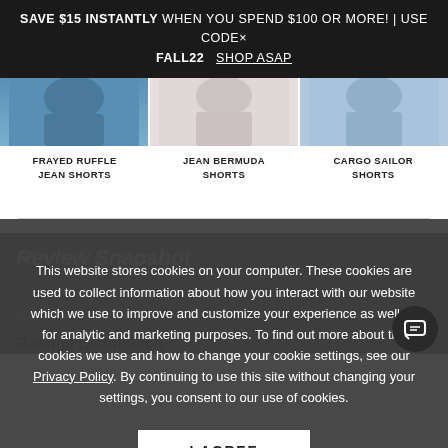SAVE $15 INSTANTLY WHEN YOU SPEND $100 OR MORE! | USE CODE FALL22  SHOP ASAP
[Figure (photo): Three product photos showing female models wearing shorts (frayed ruffle jean shorts, jean bermuda shorts, cargo sailor shorts) cropped to show lower body]
FRAYED RUFFLE JEAN SHORTS
JEAN BERMUDA SHORTS
CARGO SAILOR SHORTS
Review Snapshot
65% of respondents would
This website stores cookies on your computer. These cookies are used to collect information about how you interact with our website which we use to improve and customize your experience as well as for analytic and marketing purposes. To find out more about the cookies we use and how to change your cookie settings, see our Privacy Policy. By continuing to use this site without changing your settings, you consent to our use of cookies.
I AGREE
Ratings Distribution